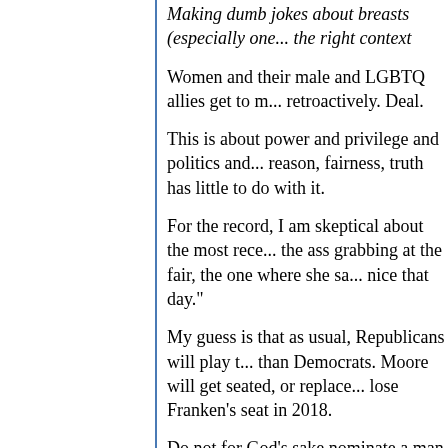Making dumb jokes about breasts (especially one... the right context
Women and their male and LGBTQ allies get to m... retroactively. Deal.
This is about power and privilege and politics and... reason, fairness, truth has little to do with it.
For the record, I am skeptical about the most rece... the ass grabbing at the fair, the one where she sa... nice that day."
My guess is that as usual, Republicans will play t... than Democrats. Moore will get seated, or replace... lose Franken's seat in 2018.
Do not for God's sake nominate a man in 2020, e... headlines in October.
Posted by: bob mcmanus | November 20, 2017 at 01:56 PM
Has anybody taken a look at the wonderful matrix... link? Whoever created it knows how to present in... Law: raw data != useful information.) The consiste...